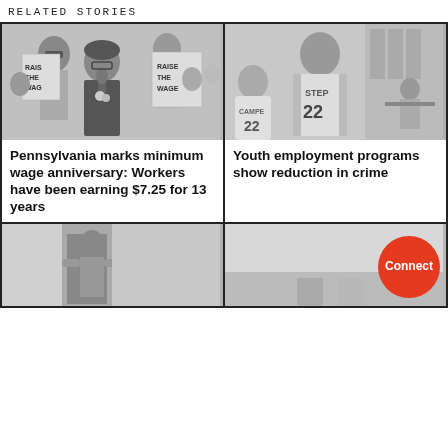RELATED STORIES
[Figure (photo): Black and white photo of a woman speaking at a microphone at a rally with people holding 'RAISE THE WAGE' signs]
[Figure (photo): Black and white photo of youth in baseball uniforms with 'STEP 22' and 'CAMPE 22' on the back, inside a building]
Pennsylvania marks minimum wage anniversary: Workers have been earning $7.25 for 13 years
Youth employment programs show reduction in crime
[Figure (photo): Black and white photo of a person near a doorway or building entrance]
[Figure (photo): Black and white photo of two people outdoors near water, one wearing a hat]
Connect